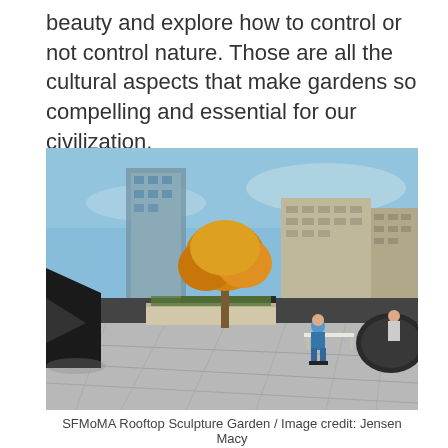beauty and explore how to control or not control nature. Those are all the cultural aspects that make gardens so compelling and essential for our civilization.
[Figure (photo): Outdoor rooftop sculpture garden with autumn yellow-leafed trees, people sitting on benches, urban buildings in the background, and large dark sculpture elements visible on the left and right. Blue sky with light clouds above.]
SFMoMA Rooftop Sculpture Garden / Image credit: Jensen Macy